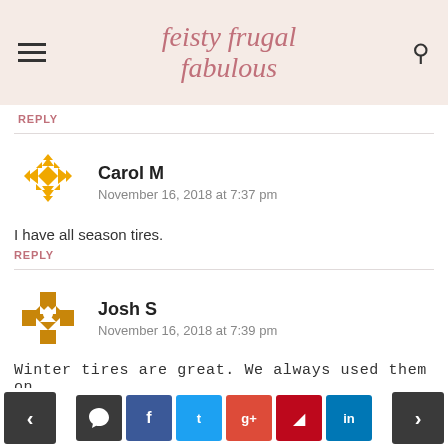feisty frugal fabulous
REPLY
Carol M
November 16, 2018 at 7:37 pm
I have all season tires.
REPLY
Josh S
November 16, 2018 at 7:39 pm
Winter tires are great. We always used them on
< comment f t g+ p in >